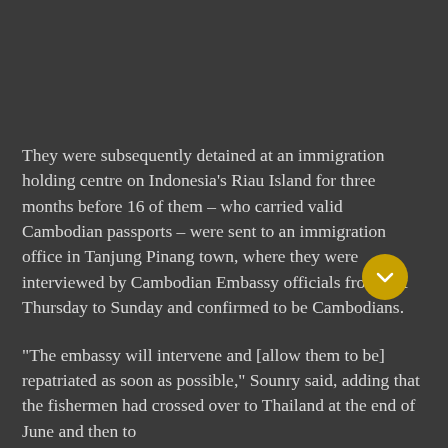They were subsequently detained at an immigration holding centre on Indonesia's Riau Island for three months before 16 of them – who carried valid Cambodian passports – were sent to an immigration office in Tanjung Pinang town, where they were interviewed by Cambodian Embassy officials from last Thursday to Sunday and confirmed to be Cambodians.
"The embassy will intervene and [allow them to be] repatriated as soon as possible," Sounry said, adding that the fishermen had crossed over to Thailand at the end of June and then to